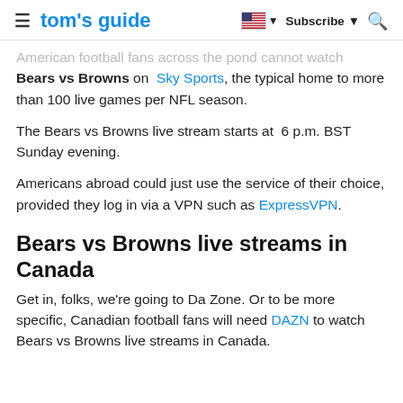tom's guide | Subscribe
American football fans across the pond cannot watch Bears vs Browns on Sky Sports, the typical home to more than 100 live games per NFL season.
The Bears vs Browns live stream starts at 6 p.m. BST Sunday evening.
Americans abroad could just use the service of their choice, provided they log in via a VPN such as ExpressVPN.
Bears vs Browns live streams in Canada
Get in, folks, we're going to Da Zone. Or to be more specific, Canadian football fans will need DAZN to watch Bears vs Browns live streams in Canada.